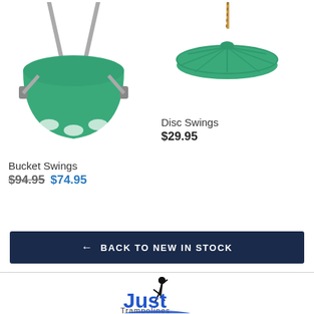[Figure (photo): Green bucket swing seat with metal hangers, photographed from the front]
Bucket Swings
$94.95 $74.95
[Figure (photo): Green disc swing with rope attached, photographed from above]
Disc Swings
$29.95
← BACK TO NEW IN STOCK
[Figure (logo): Just Trampolines logo with silhouette of jumping person]